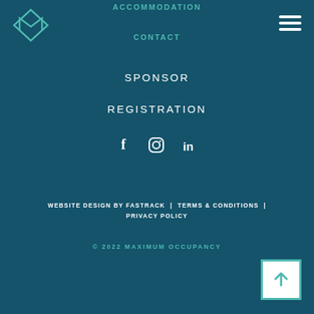[Figure (logo): Maximum Occupancy logo — teal geometric diamond/M shape outline]
[Figure (illustration): Hamburger menu icon (three horizontal white lines)]
ACCOMMODATION
CONTACT
SPONSOR
REGISTRATION
[Figure (infographic): Social media icons: Facebook (f), Instagram (circle camera), LinkedIn (in)]
WEBSITE DESIGN BY FASTRACK | TERMS & CONDITIONS | PRIVACY POLICY
© 2022 MAXIMUM OCCUPANCY
[Figure (other): Back to top button — white square with teal border and upward arrow]